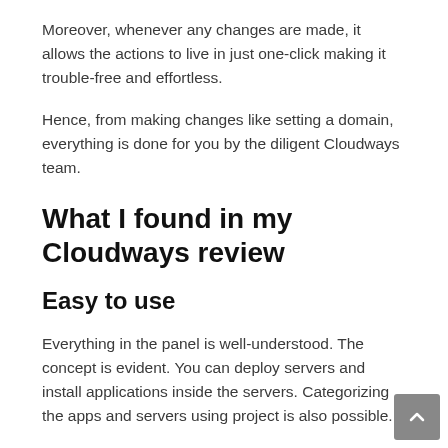Moreover, whenever any changes are made, it allows the actions to live in just one-click making it trouble-free and effortless.
Hence, from making changes like setting a domain, everything is done for you by the diligent Cloudways team.
What I found in my Cloudways review
Easy to use
Everything in the panel is well-understood. The concept is evident. You can deploy servers and install applications inside the servers. Categorizing the apps and servers using project is also possible.